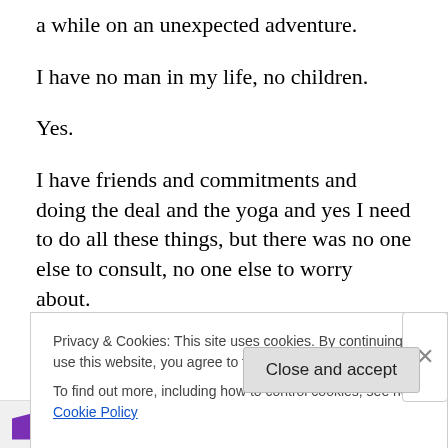a while on an unexpected adventure.
I have no man in my life, no children.
Yes.
I have friends and commitments and doing the deal and the yoga and yes I need to do all these things, but there was no one else to consult, no one else to worry about.
The only person I had to please was me.
And I am so well pleased.
Privacy & Cookies: This site uses cookies. By continuing to use this website, you agree to their use. To find out more, including how to control cookies, see here: Cookie Policy
Close and accept